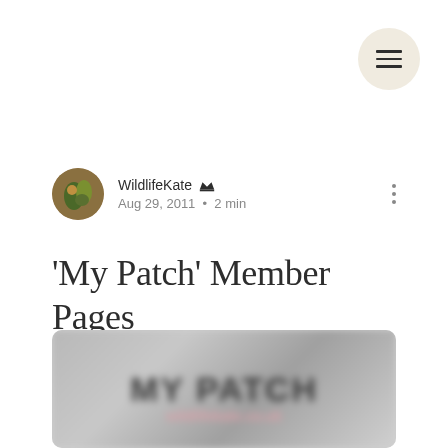[Figure (illustration): Hamburger menu button (three horizontal lines) inside a beige/cream circle, positioned top right]
WildlifeKate 👑 Aug 29, 2011 · 2 min
'My Patch' Member Pages
[Figure (screenshot): Blurred image showing text 'MY PATCH' in large bold letters on a grey background with a pink/red element at the bottom. Image is partially cut off at page bottom.]